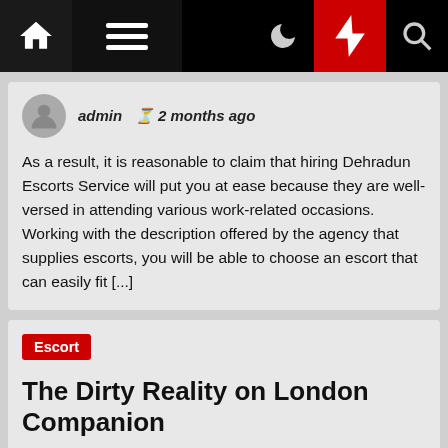Navigation bar with home, menu, moon, bolt, search icons
admin  2 months ago
As a result, it is reasonable to claim that hiring Dehradun Escorts Service will put you at ease because they are well-versed in attending various work-related occasions. Working with the description offered by the agency that supplies escorts, you will be able to choose an escort that can easily fit [...]
Escort
The Dirty Reality on London Companion